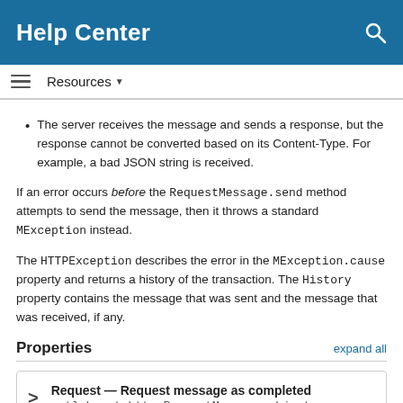Help Center
Resources
The server receives the message and sends a response, but the response cannot be converted based on its Content-Type. For example, a bad JSON string is received.
If an error occurs before the RequestMessage.send method attempts to send the message, then it throws a standard MException instead.
The HTTPException describes the error in the MException.cause property and returns a history of the transaction. The History property contains the message that was sent and the message that was received, if any.
Properties
expand all
Request — Request message as completed
matlab.net.http.RequestMessage object